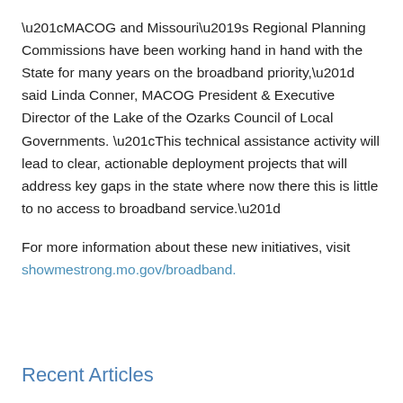“MACOG and Missouri’s Regional Planning Commissions have been working hand in hand with the State for many years on the broadband priority,” said Linda Conner, MACOG President & Executive Director of the Lake of the Ozarks Council of Local Governments. “This technical assistance activity will lead to clear, actionable deployment projects that will address key gaps in the state where now there this is little to no access to broadband service.”
For more information about these new initiatives, visit showmestrong.mo.gov/broadband.
Recent Articles